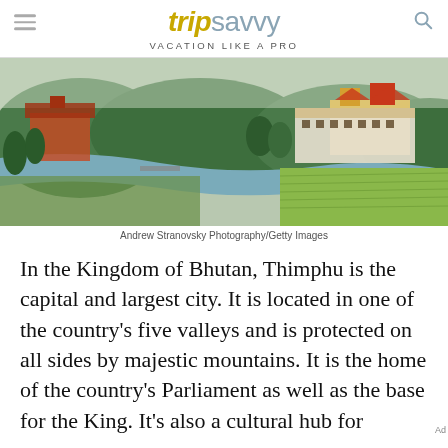trip savvy — VACATION LIKE A PRO
[Figure (photo): Aerial view of Thimphu, Bhutan, showing a river winding through the valley with traditional Bhutanese architecture including a large ornate temple/dzong surrounded by green trees and terraced fields.]
Andrew Stranovsky Photography/Getty Images
In the Kingdom of Bhutan, Thimphu is the capital and largest city. It is located in one of the country's five valleys and is protected on all sides by majestic mountains. It is the home of the country's Parliament as well as the base for the King. It's also a cultural hub for